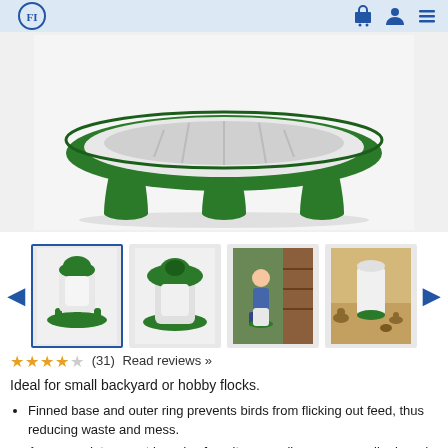Page header with logo and navigation icons
[Figure (photo): Main product photo: green and white poultry feeder with elevated oval ring base on three cone-shaped legs, viewed from above at an angle]
[Figure (photo): Thumbnail 1 (selected): green and white poultry feeder upright view]
[Figure (photo): Thumbnail 2: green and white poultry feeder top-angled view]
[Figure (photo): Thumbnail 3: child near chicken coop with poultry feeder]
[Figure (photo): Thumbnail 4: white poultry feeder among quail or similar birds on sandy ground]
★★★★☆ (31) Read reviews »
Ideal for small backyard or hobby flocks.
Finned base and outer ring prevents birds from flicking out feed, thus reducing waste and mess.
Accommodates most breeds of poultry as well as some smaller breeds of waterfowl.